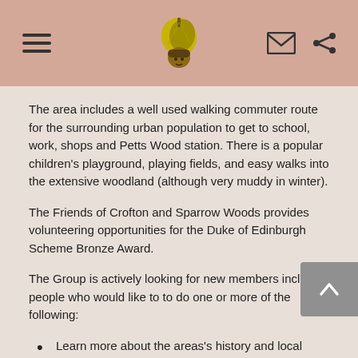The area includes a well used walking commuter route for the surrounding urban population to get to school, work, shops and Petts Wood station. There is a popular children's playground, playing fields, and easy walks into the extensive woodland (although very muddy in winter).
The Friends of Crofton and Sparrow Woods provides volunteering opportunities for the Duke of Edinburgh Scheme Bronze Award.
The Group is actively looking for new members including people who would like to to do one or more of the following:
Learn more about the areas's history and local environment through receiving our newsletter.
Join our fortnightly Tuesday morning woodland Work Groups.